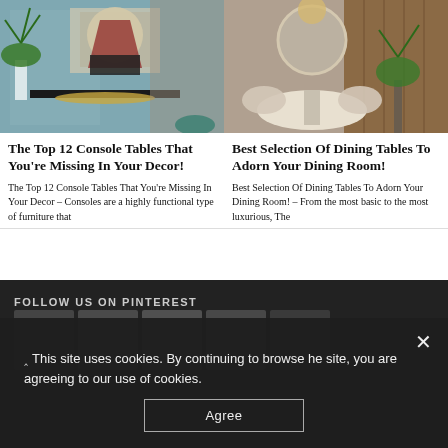[Figure (photo): Interior design photo showing a black console table with gold curved base, a large tropical plant in white pot, and abstract wall art in a room with grey-blue walls and green chair]
[Figure (photo): Interior design photo showing an elegant dining room with a round marble table, neutral upholstered chairs, a tropical plant, and a large round mirror on a wood-panelled wall]
The Top 12 Console Tables That You’re Missing In Your Decor!
Best Selection Of Dining Tables To Adorn Your Dining Room!
The Top 12 Console Tables That You’re Missing In Your Decor – Consoles are a highly functional type of furniture that
Best Selection Of Dining Tables To Adorn Your Dining Room! – From the most basic to the most luxurious, The
FOLLOW US ON PINTEREST
This site uses cookies. By continuing to browse he site, you are agreeing to our use of cookies.
Agree